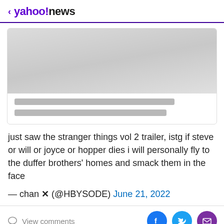< yahoo!news
[Figure (screenshot): Embedded tweet screenshot placeholder with gray image area and two gray loading bars for text]
just saw the stranger things vol 2 trailer, istg if steve or will or joyce or hopper dies i will personally fly to the duffer brothers' homes and smack them in the face
— chan ✕ (@HBYSODE) June 21, 2022
View comments